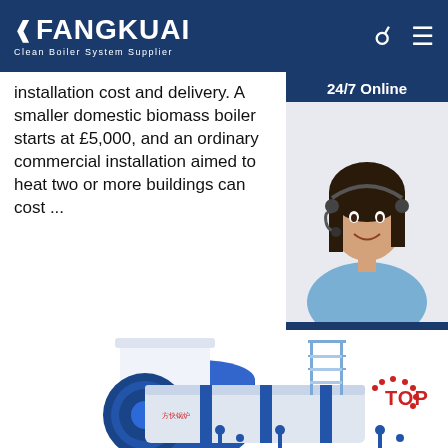FANGKUAI Clean Boiler System Supplier
installation cost and delivery. A smaller domestic biomass boiler starts at £5,000, and an ordinary commercial installation aimed to heat two or more buildings can cost ...
[Figure (photo): 24/7 Online customer service representative smiling and wearing a headset. Click here for free chat! QUOTATION button.]
[Figure (photo): Industrial boiler equipment, blue and white, with stairs and piping, with TOP badge in bottom right corner.]